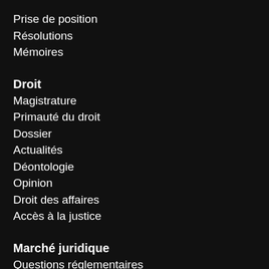Prise de position
Résolutions
Mémoires
Droit
Magistrature
Primauté du droit
Dossier
Actualités
Déontologie
Opinion
Droit des affaires
Accès à la justice
Marché juridique
Questions réglementaires
Opinion